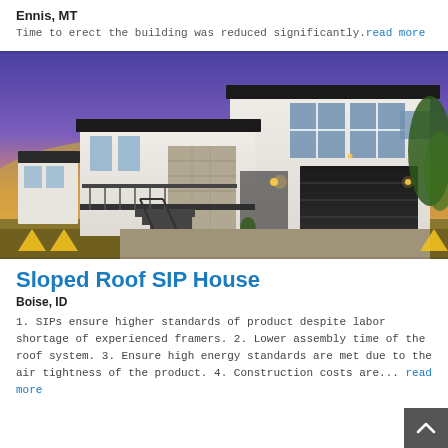Ennis, MT
Time to erect the building was reduced significantly.read more
[Figure (photo): Modern two-story sloped roof SIP house with white and stone facade, dark garage door, balcony with metal railing, exterior staircase, at dusk with colorful sky]
Sloped Roof SIP House
Boise, ID
1. SIPs ensure higher standards of product despite labor shortage of experienced framers. 2. Lower assembly time of the roof system. 3. Ensure high energy standards are met due to the air tightness of the product. 4. Construction costs are... read more